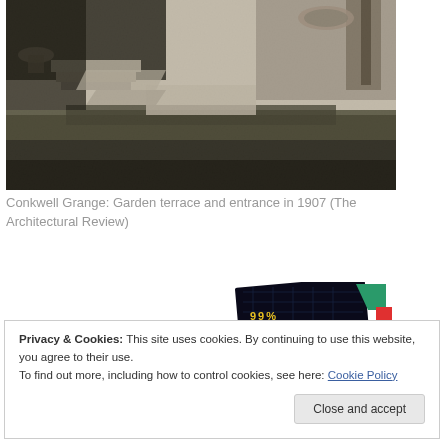[Figure (photo): Black and white photograph of Conkwell Grange garden terrace and entrance in 1907, showing stone steps, hedges, and architectural elements]
Conkwell Grange: Garden terrace and entrance in 1907 (The Architectural Review)
[Figure (illustration): 99% Invisible podcast or book cover image, showing text '99% INVISIBLE' on a dark grid background with colorful geometric shapes]
Privacy & Cookies: This site uses cookies. By continuing to use this website, you agree to their use.
To find out more, including how to control cookies, see here: Cookie Policy
Close and accept